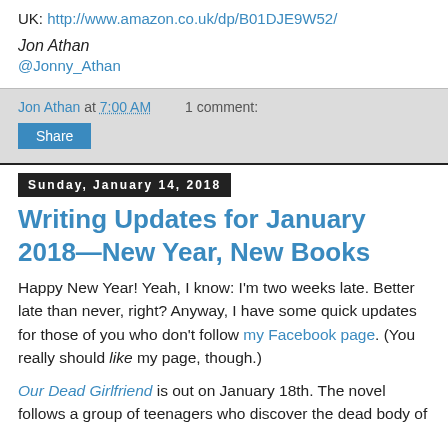UK: http://www.amazon.co.uk/dp/B01DJE9W52/
Jon Athan
@Jonny_Athan
Jon Athan at 7:00 AM   1 comment:
Share
Sunday, January 14, 2018
Writing Updates for January 2018—New Year, New Books
Happy New Year! Yeah, I know: I'm two weeks late. Better late than never, right? Anyway, I have some quick updates for those of you who don't follow my Facebook page. (You really should like my page, though.)
Our Dead Girlfriend is out on January 18th. The novel follows a group of teenagers who discover the dead body of